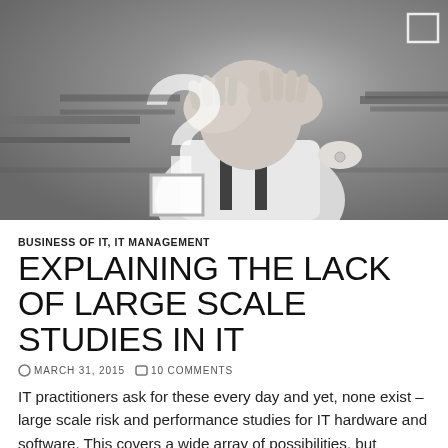[Figure (photo): Black and white photo of a boy covering his face with hands, with a large question mark graphic overlay and a small square icon in the top right corner]
BUSINESS OF IT, IT MANAGEMENT
EXPLAINING THE LACK OF LARGE SCALE STUDIES IN IT
MARCH 31, 2015   10 COMMENTS
IT practitioners ask for these every day and yet, none exist – large scale risk and performance studies for IT hardware and software.  This covers a wide array of possibilities, but common